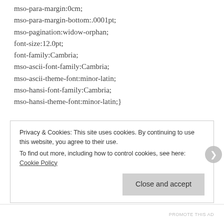mso-para-margin:0cm;
mso-para-margin-bottom:.0001pt;
mso-pagination:widow-orphan;
font-size:12.0pt;
font-family:Cambria;
mso-ascii-font-family:Cambria;
mso-ascii-theme-font:minor-latin;
mso-hansi-font-family:Cambria;
mso-hansi-theme-font:minor-latin;}
MATTE TO PERFECTION
I'm a (not so) proud owner of oily skin. People said it'll delay
Privacy & Cookies: This site uses cookies. By continuing to use this website, you agree to their use.
To find out more, including how to control cookies, see here: Cookie Policy
Close and accept
PROMOTE THIS AD